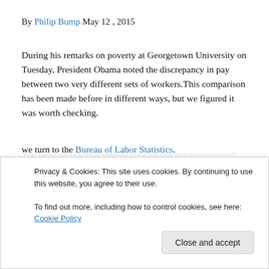By Philip Bump May 12 , 2015
During his remarks on poverty at Georgetown University on Tuesday, President Obama noted the discrepancy in pay between two very different sets of workers.This comparison has been made before in different ways, but we figured it was worth checking.
The most recent government data on teacher employment covers the 2011-2012 school year.
we turn to the Bureau of Labor Statistics.
Privacy & Cookies: This site uses cookies. By continuing to use this website, you agree to their use.
To find out more, including how to control cookies, see here: Cookie Policy